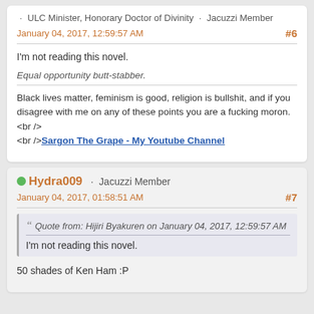· ULC Minister, Honorary Doctor of Divinity · Jacuzzi Member
January 04, 2017, 12:59:57 AM
#6
I'm not reading this novel.
Equal opportunity butt-stabber.
Black lives matter, feminism is good, religion is bullshit, and if you disagree with me on any of these points you are a fucking moron.<br /><br />Sargon The Grape - My Youtube Channel
Hydra009 · Jacuzzi Member
January 04, 2017, 01:58:51 AM
#7
Quote from: Hijiri Byakuren on January 04, 2017, 12:59:57 AM
I'm not reading this novel.
50 shades of Ken Ham :P